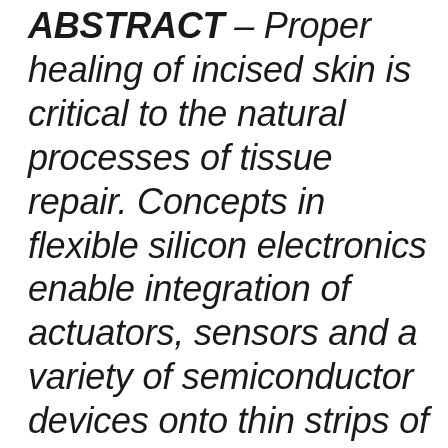ABSTRACT – Proper healing of incised skin is critical to the natural processes of tissue repair. Concepts in flexible silicon electronics enable integration of actuators, sensors and a variety of semiconductor devices onto thin strips of plastic or biopolymers, to yield 'instrumented' suture threads for monitoring and accelerating the wound healing in this context. Bifacial systems of this type demonstrate various classes of functionality, in live animal